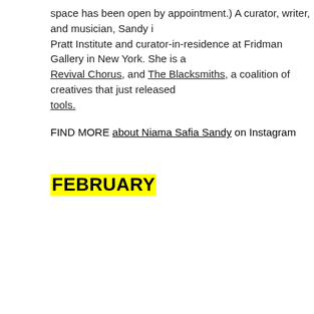space has been open by appointment.) A curator, writer, and musician, Sandy [... Pratt Institute and curator-in-residence at Fridman Gallery in New York. She is a[...] Revival Chorus, and The Blacksmiths, a coalition of creatives that just released [...] tools.
FIND MORE about Niama Safia Sandy on Instagram
FEBRUARY